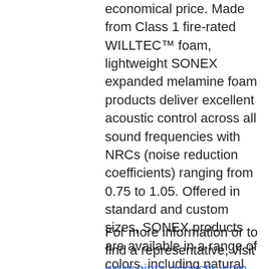economical price. Made from Class 1 fire-rated WILLTEC™ foam, lightweight SONEX expanded melamine foam products deliver excellent acoustic control across all sound frequencies with NRCs (noise reduction coefficients) ranging from 0.75 to 1.05. Offered in standard and custom sizes, SONEX products are available in a range of colors, including natural white, natural grey, standard, premium and custom acoustic color coatings. SONEX Valueline Panels are easy to install using pinta's water-based acouSTIC adhesive on most porous substrate surfaces and can be cut easily to fit on site. Readily available in a variety of shapes, sizes and thicknesses SONEX products are low density, lightweight and flexible to meet a variety of applications.
For more information or to find a representative, visit www.pinta-acoustic.com or call 1.800.662.0032 or +1.612.355.4200. To